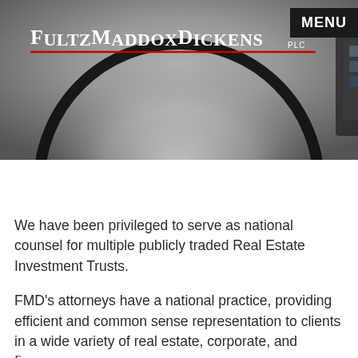[Figure (logo): FultzMaddoxDickens PLC Attorneys logo with building image and large circular magnifying glass overlay on dark gradient background]
MENU
We have been privileged to serve as national counsel for multiple publicly traded Real Estate Investment Trusts.
FMD's attorneys have a national practice, providing efficient and common sense representation to clients in a wide variety of real estate, corporate, and finance